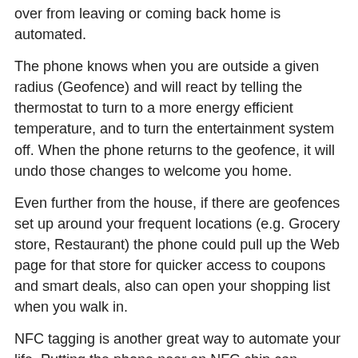over from leaving or coming back home is automated.
The phone knows when you are outside a given radius (Geofence) and will react by telling the thermostat to turn to a more energy efficient temperature, and to turn the entertainment system off. When the phone returns to the geofence, it will undo those changes to welcome you home.
Even further from the house, if there are geofences set up around your frequent locations (e.g. Grocery store, Restaurant) the phone could pull up the Web page for that store for quicker access to coupons and smart deals, also can open your shopping list when you walk in.
NFC tagging is another great way to automate your life. Putting the phone near an NFC chip can completely change the ambiance in any way you specify.
Please stay closely tuned to this blog for more.